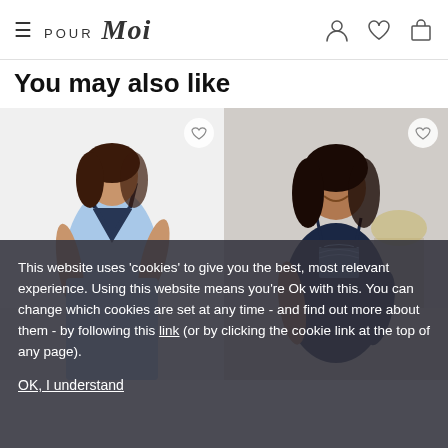Pour Moi header with hamburger menu, logo, and icons (account, wishlist, bag)
You may also like
[Figure (photo): Woman wearing a light blue spaghetti strap slip dress with navy V-neck trim, standing against a white background]
[Figure (photo): Woman wearing a navy blue camisole with lace trim, smiling, seated in a light bedroom setting]
This website uses 'cookies' to give you the best, most relevant experience. Using this website means you're Ok with this. You can change which cookies are set at any time - and find out more about them - by following this link (or by clicking the cookie link at the top of any page).
OK, I understand